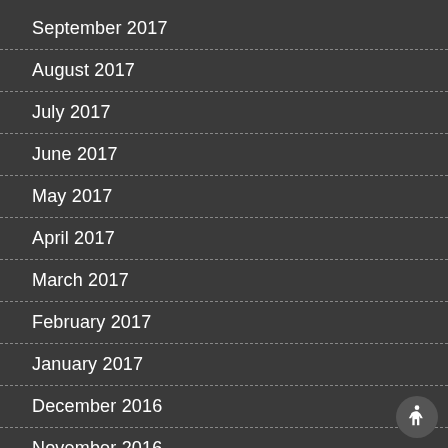September 2017
August 2017
July 2017
June 2017
May 2017
April 2017
March 2017
February 2017
January 2017
December 2016
November 2016
October 2016
September 2016
August 2016